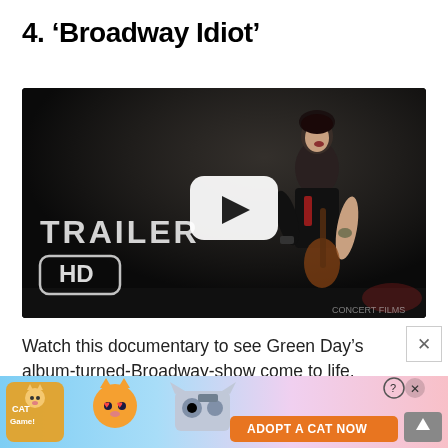4. 'Broadway Idiot'
[Figure (screenshot): Video thumbnail showing a concert performer on dark stage with TRAILER HD overlay and YouTube play button]
Watch this documentary to see Green Day's album-turned-Broadway-show come to life. Rent it on YouTube
[Figure (illustration): Advertisement banner: Cat Game - Adopt A Cat Now]